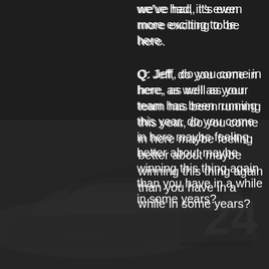[Figure (photo): Dark background with a NASCAR race car (number 24) visible in the lower portion of the image, with dark overlay making it partially visible as a background element.]
we've had, it's even more exciting to be here.
Q: Jeff, do you come in here, as well as your team has been running this year, do you come in here maybe feeling better about maybe winning this thing again than you have in a while in some years?
GORDON: I feel like every time we come here we have a shot at winning, you know. And we've come up short a couple of times when we didn't win it. We've come in here and didn't really have what it took to win and made more out of it than I